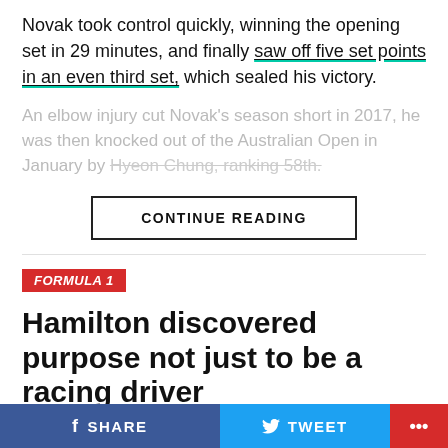Novak took control quickly, winning the opening set in 29 minutes, and finally saw off five set points in an even third set, which sealed his victory.
An elbow injury cut Novak's season short in 2017, he was then knocked out of the Australian Open in January by Hyeon Chung, ranking 58th.
CONTINUE READING
FORMULA 1
Hamilton discovered purpose not just to be a racing driver
Published 1 day ago on September 1, 2022
SHARE   TWEET   ...